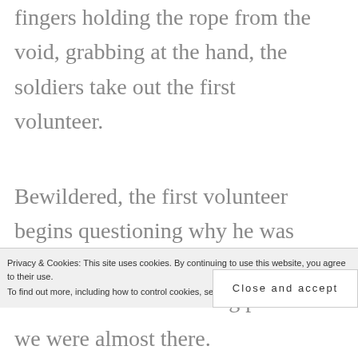fingers holding the rope from the void, grabbing at the hand, the soldiers take out the first volunteer.
Bewildered, the first volunteer begins questioning why he was yanked away. The rest of the volunteers who are being pulled
Privacy & Cookies: This site uses cookies. By continuing to use this website, you agree to their use.
To find out more, including how to control cookies, see here: Privacy Policy
we were almost there.